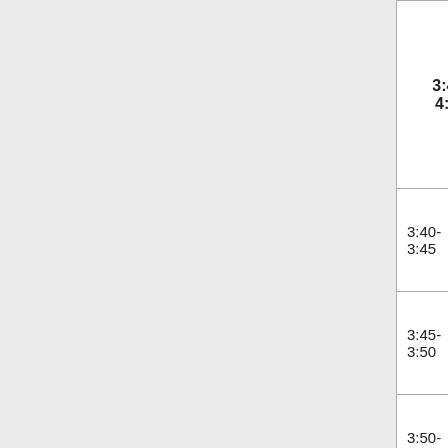| Time | Speaker | Topic |
| --- | --- | --- |
| 3:40-4:00 |  | Speed Talks and Photo Contest |
| 3:40-3:45 | Andrew Frank | TBD |
| 3:45-3:50 |  |  |
| 3:50-3:55 |  |  |
| 3:55-4:00 | Photo Contest Results |  |
[Figure (photo): Collage of botanical/nature photos: landscape with trees, purple spotted plant, green round leaf, and plant seedling]